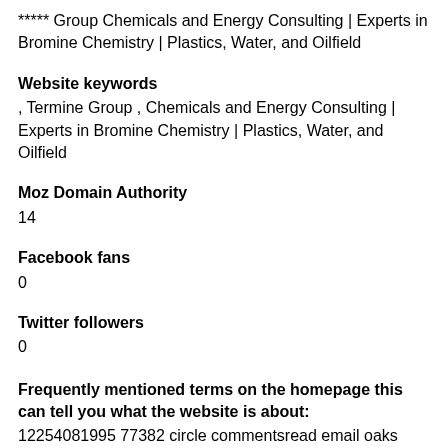***** Group Chemicals and Energy Consulting | Experts in Bromine Chemistry | Plastics, Water, and Oilfield
Website keywords
, Termine Group , Chemicals and Energy Consulting | Experts in Bromine Chemistry | Plastics, Water, and Oilfield
Moz Domain Authority
14
Facebook fans
0
Twitter followers
0
Frequently mentioned terms on the homepage this can tell you what the website is about:
12254081995 77382 circle commentsread email oaks oriel phone ric rss south terminecom woodlands